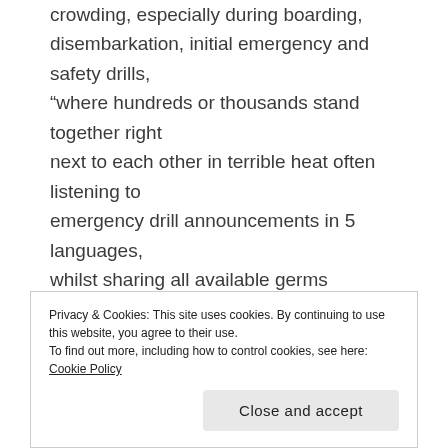crowding, especially during boarding, disembarkation, initial emergency and safety drills, “where hundreds or thousands stand together right next to each other in terrible heat often listening to emergency drill announcements in 5 languages, whilst sharing all available germs amongst each other”, Medical specialist.  Some ships offer these safety measures in a context of air conditioning, seating and adequate spacing, which benefits the public, especially individuals with certain health conditions.  Concerns have been raised regarding dining or food etiquette and supervising children
Privacy & Cookies: This site uses cookies. By continuing to use this website, you agree to their use.
To find out more, including how to control cookies, see here: Cookie Policy